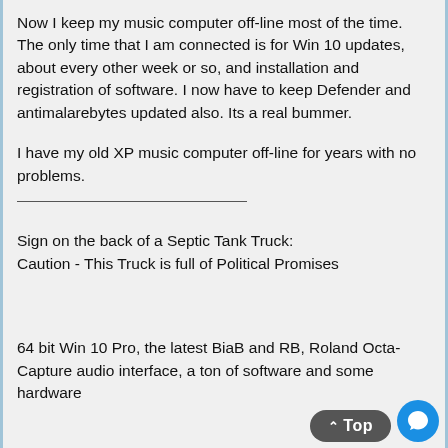Now I keep my music computer off-line most of the time. The only time that I am connected is for Win 10 updates, about every other week or so, and installation and registration of software. I now have to keep Defender and antimalarebytes updated also. Its a real bummer.
I have my old XP music computer off-line for years with no problems.
Sign on the back of a Septic Tank Truck:
Caution - This Truck is full of Political Promises
64 bit Win 10 Pro, the latest BiaB and RB, Roland Octa-Capture audio interface, a ton of software and some hardware